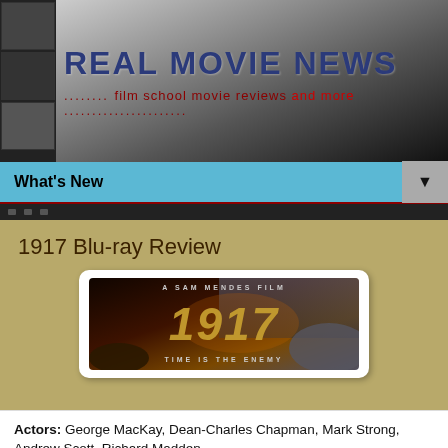REAL MOVIE NEWS
........ film school movie reviews and more ......................
What's New
1917 Blu-ray Review
[Figure (photo): Movie poster for 1917 - A Sam Mendes Film. Shows soldiers in a war scene with large stylized '1917' text. Tagline: TIME IS THE ENEMY]
Actors: George MacKay, Dean-Charles Chapman, Mark Strong, Andrew Scott, Richard Madden
Director: Sam Mendes
Writers: Sam Mendes, Krysty Wilson-Cairns
Producers: Sam Mendes, Pippa Harris, Jayne-Ann Tenggren, Callum